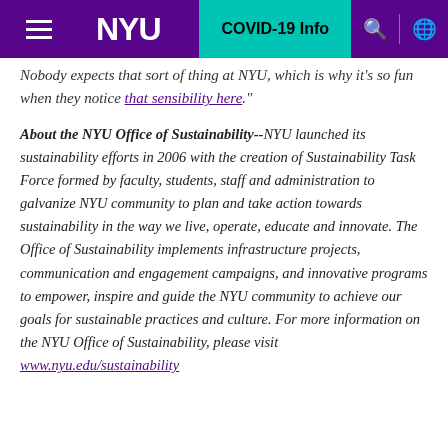NYU | COVID-19 Info
Nobody expects that sort of thing at NYU, which is why it's so fun when they notice that sensibility here."
About the NYU Office of Sustainability--NYU launched its sustainability efforts in 2006 with the creation of Sustainability Task Force formed by faculty, students, staff and administration to galvanize NYU community to plan and take action towards sustainability in the way we live, operate, educate and innovate. The Office of Sustainability implements infrastructure projects, communication and engagement campaigns, and innovative programs to empower, inspire and guide the NYU community to achieve our goals for sustainable practices and culture. For more information on the NYU Office of Sustainability, please visit www.nyu.edu/sustainability